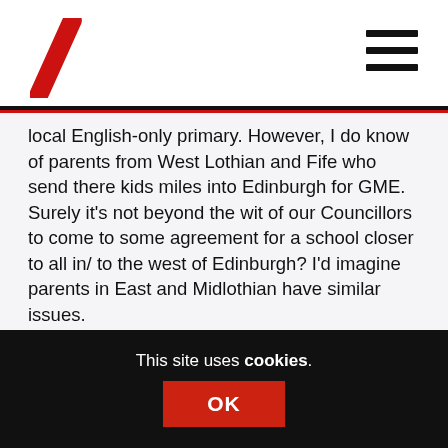[Logo and navigation header]
local English-only primary. However, I do know of parents from West Lothian and Fife who send there kids miles into Edinburgh for GME. Surely it's not beyond the wit of our Councillors to come to some agreement for a school closer to all in/ to the west of Edinburgh? I'd imagine parents in East and Midlothian have similar issues.
Feumaidh sinn ar guthan a thogail. Gu h-araid ro thaghadh a' Chomhairle.
Reply
This site uses cookies.
OK